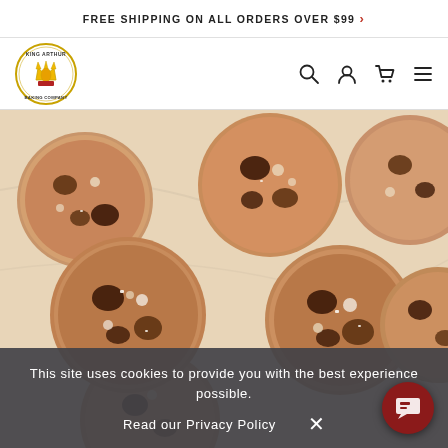FREE SHIPPING ON ALL ORDERS OVER $99 >
[Figure (logo): King Arthur Baking Company circular logo with crown and wheat motif]
[Figure (photo): Overhead photo of chocolate chip cookies with sea salt on marble surface]
This site uses cookies to provide you with the best experience possible.
Read our Privacy Policy
[Figure (other): Red circular chat/help button in bottom right corner]